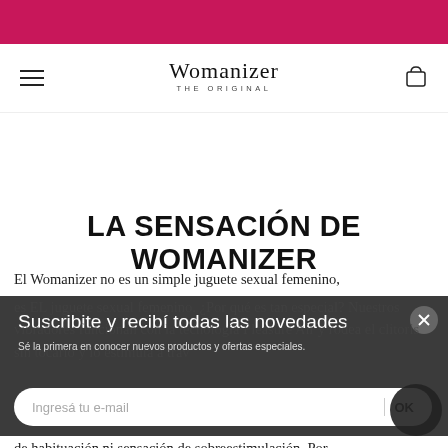[Figure (logo): Womanizer THE ORIGINAL logo with hamburger menu and cart icon]
LA SENSACIÓN DE WOMANIZER
El Womanizer no es un simple juguete sexual femenino, es EL juguete sexual femenino. ¿Por qué es tan especial? Nuestros vibradores funcionan con la tecnología Pleasure Air y rodea el clitoris sin tocarlo y lo estimula a trav…
Suscribite y recibí todas las novedades
Sé la primera en conocer nuevos productos y ofertas especiales.
Ingresá tu e-mail   | OK
de habituación ni sensación de sobreestimulación. Por